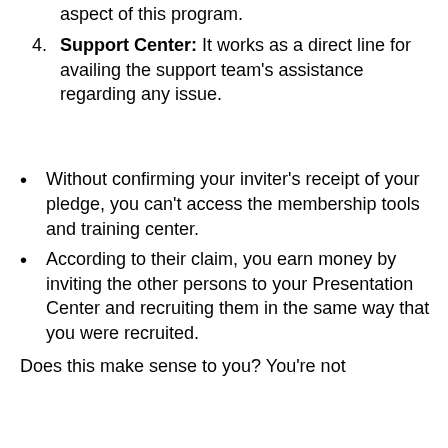aspect of this program.
Support Center: It works as a direct line for availing the support team's assistance regarding any issue.
Without confirming your inviter's receipt of your pledge, you can't access the membership tools and training center.
According to their claim, you earn money by inviting the other persons to your Presentation Center and recruiting them in the same way that you were recruited.
Does this make sense to you? You're not